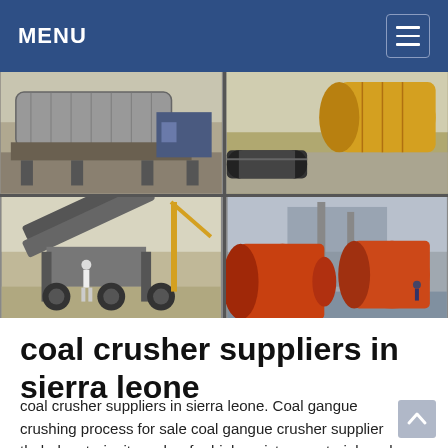MENU
[Figure (photo): A 2x2 grid of four industrial/mining equipment photos: top-left shows a large cylindrical industrial drum/mill in a plant; top-right shows a yellow cylindrical drum outdoors with machinery; bottom-left shows a mobile crusher/screening plant with a person standing in front and a crane; bottom-right shows large red/orange industrial drums/mills at an outdoor facility with chimneys.]
coal crusher suppliers in sierra leone
coal crusher suppliers in sierra leone. Coal gangue crushing process for sale coal gangue crusher supplier thebakerytorineit crusher for high moisture materialssuch